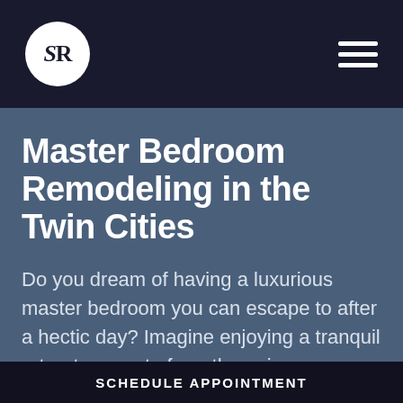[Figure (logo): SR monogram logo in a white circle on a dark navy navigation bar, with a hamburger menu icon on the right]
Master Bedroom Remodeling in the Twin Cities
Do you dream of having a luxurious master bedroom you can escape to after a hectic day? Imagine enjoying a tranquil retreat separate from the noise
SCHEDULE APPOINTMENT